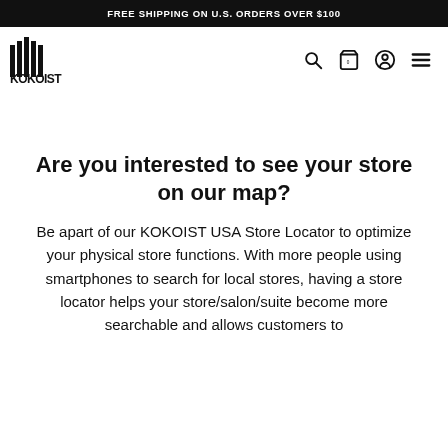FREE SHIPPING ON U.S. ORDERS OVER $100
[Figure (logo): KOKOIST logo with vertical bar graphic and bold text]
Are you interested to see your store on our map?
Be apart of our KOKOIST USA Store Locator to optimize your physical store functions. With more people using smartphones to search for local stores, having a store locator helps your store/salon/suite become more searchable and allows customers to